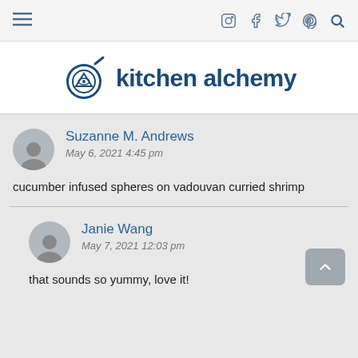kitchen alchemy — navigation bar with hamburger menu and social icons (Instagram, Facebook, Twitter, Pinterest, Search)
kitchen alchemy
Suzanne M. Andrews
May 6, 2021 4:45 pm
cucumber infused spheres on vadouvan curried shrimp
Janie Wang
May 7, 2021 12:03 pm
that sounds so yummy, love it!